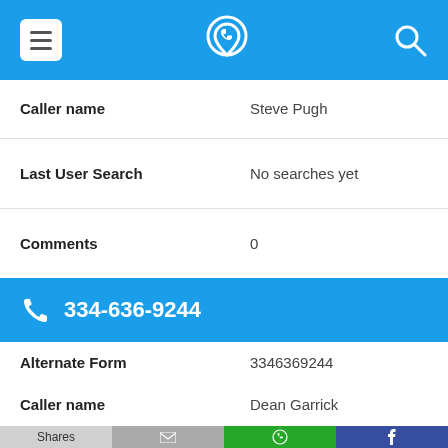[Figure (screenshot): Mobile app top navigation bar with hamburger menu icon, phone/location app logo, and search icon on blue background]
| Caller name | Steve Pugh |
| Last User Search | No searches yet |
| Comments | 0 |
334-636-9244
| Alternate Form | 3346369244 |
| Caller name | Dean Garrick |
| Last User Search | No searches yet |
[Figure (screenshot): Bottom share bar with Shares button, email icon, WhatsApp icon, and Facebook icon]